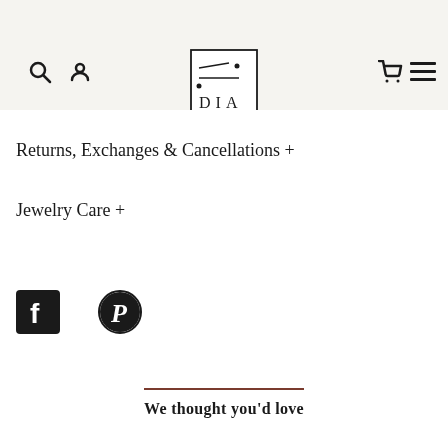Navigation bar with search, account, logo (DIA), cart, and menu icons
[Figure (logo): Brand logo with text 'DIA' and decorative lines/dots in a square border]
Returns, Exchanges & Cancellations +
Jewelry Care +
[Figure (other): Social media icons: Facebook (filled square with F) and Pinterest (circle with P)]
We thought you'd love